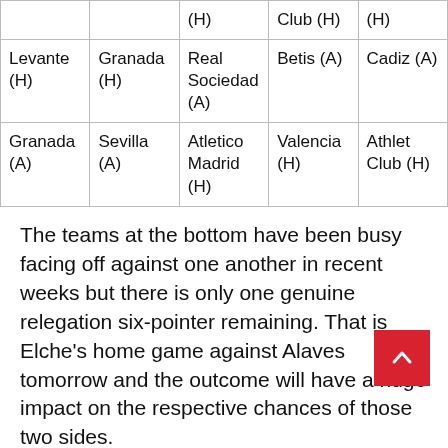|  |  | (H) | Club (H) | (H) |
| Levante (H) | Granada (H) | Real Sociedad (A) | Betis (A) | Cadiz (A) |
| Granada (A) | Sevilla (A) | Atletico Madrid (H) | Valencia (H) | Athlet Club (H) |
The teams at the bottom have been busy facing off against one another in recent weeks but there is only one genuine relegation six-pointer remaining. That is Elche's home game against Alaves tomorrow and the outcome will have a huge impact on the respective chances of those two sides.
Real Valladolid are the team with the toughest ru… All of their remaining fixtures are against sides…